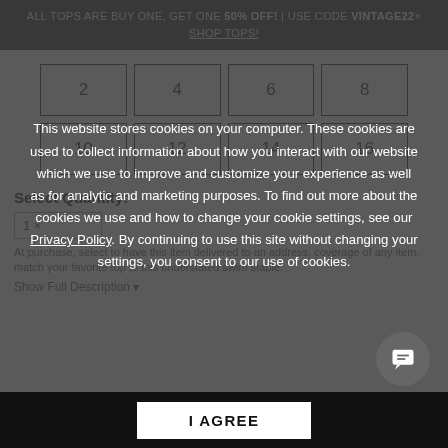ALL TOPS ARE BUY ONE, GET ONE 50% OFF! | USE CODE VINTAGE22× SHOP TOPS!
[Figure (other): Size selection grid with 8 sizes: 2, 4, 6, 8, 10, 12, 14, 16 displayed as bordered boxes]
Select Quantity:
This website stores cookies on your computer. These cookies are used to collect information about how you interact with our website which we use to improve and customize your experience as well as for analytic and marketing purposes. To find out more about the cookies we use and how to change your cookie settings, see our Privacy Policy. By continuing to use this site without changing your settings, you consent to our use of cookies.
I AGREE
Show Full Description